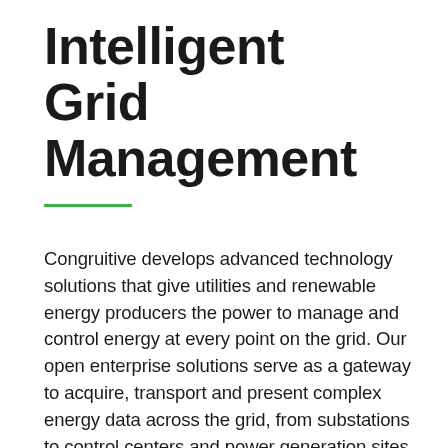Intelligent Grid Management
Congruitive develops advanced technology solutions that give utilities and renewable energy producers the power to manage and control energy at every point on the grid. Our open enterprise solutions serve as a gateway to acquire, transport and present complex energy data across the grid, from substations to control centers and power generation sites. Using real-time intelligence, our scalable, modular, secure systems automate key processes and provide operators with the information they need to keep energy flowing effectively, efficiently, and safely. Congruitive also manages and operates...